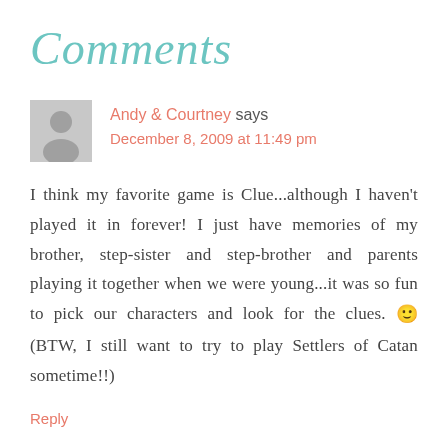Comments
Andy & Courtney says
December 8, 2009 at 11:49 pm
I think my favorite game is Clue...although I haven't played it in forever! I just have memories of my brother, step-sister and step-brother and parents playing it together when we were young...it was so fun to pick our characters and look for the clues. 🙂 (BTW, I still want to try to play Settlers of Catan sometime!!)
Reply